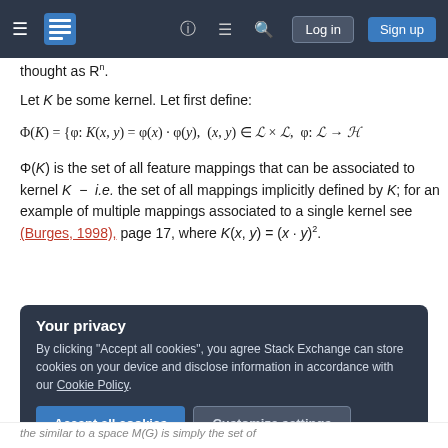[Figure (screenshot): Stack Exchange navigation bar with hamburger menu, logo, question mark icon, lines icon, search icon, Log in button and Sign up button on dark background]
thought as R^n.
Let K be some kernel. Let first define:
Φ(K) is the set of all feature mappings that can be associated to kernel K − i.e. the set of all mappings implicitly defined by K; for an example of multiple mappings associated to a single kernel see (Burges, 1998), page 17, where K(x, y) = (x · y)².
Your privacy
By clicking "Accept all cookies", you agree Stack Exchange can store cookies on your device and disclose information in accordance with our Cookie Policy.
Accept all cookies  Customize settings